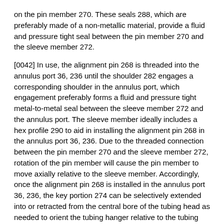on the pin member 270. These seals 288, which are preferably made of a non-metallic material, provide a fluid and pressure tight seal between the pin member 270 and the sleeve member 272.
[0042] In use, the alignment pin 268 is threaded into the annulus port 36, 236 until the shoulder 282 engages a corresponding shoulder in the annulus port, which engagement preferably forms a fluid and pressure tight metal-to-metal seal between the sleeve member 272 and the annulus port. The sleeve member ideally includes a hex profile 290 to aid in installing the alignment pin 268 in the annulus port 36, 236. Due to the threaded connection between the pin member 270 and the sleeve member 272, rotation of the pin member will cause the pin member to move axially relative to the sleeve member. Accordingly, once the alignment pin 268 is installed in the annulus port 36, 236, the key portion 274 can be selectively extended into or retracted from the central bore of the tubing head as needed to orient the tubing hanger relative to the tubing head. In this regard, the tool preparation 276 can be adapted to accommodate any tool which may be used to rotate the pin member 270 relative to the sleeve member 272.
[0043] Although the foregoing embodiments have been described with the alignment pin installed in a fluid port that is preferably closed off by a blind flange, the present invention contemplates that the alignment pin could be